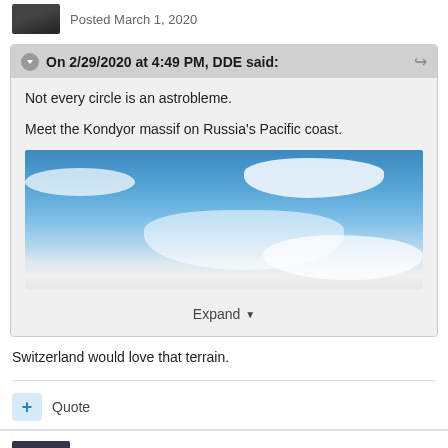Posted March 1, 2020
On 2/29/2020 at 4:49 PM, DDE said:
Not every circle is an astrobleme.

Meet the Kondyor massif on Russia's Pacific coast.
[Figure (photo): Aerial photograph of Kondyor massif showing circular formation above clouds, blue sky with white clouds]
Expand
Switzerland would love that terrain.
Quote
ThatGuyWithALongUsername
Posted March 1, 2020